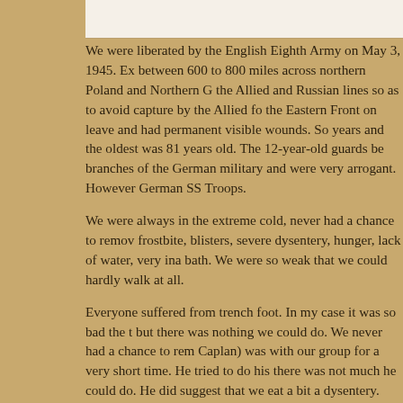We were liberated by the English Eighth Army on May 3, 1945. Ex between 600 to 800 miles across northern Poland and Northern G the Allied and Russian lines so as to avoid capture by the Allied fo the Eastern Front on leave and had permanent visible wounds. So years and the oldest was 81 years old. The 12-year-old guards be branches of the German military and were very arrogant. However German SS Troops.
We were always in the extreme cold, never had a chance to remov frostbite, blisters, severe dysentery, hunger, lack of water, very ina bath. We were so weak that we could hardly walk at all.
Everyone suffered from trench foot. In my case it was so bad the t but there was nothing we could do. We never had a chance to rem Caplan) was with our group for a very short time. He tried to do his there was not much he could do. He did suggest that we eat a bit a dysentery.
Of the various groups in this march, we were the very last group to liberated by the English Eighth Army. They treated us very well. At English gave us their English uniforms to wear. During the war the received the allowed 2 meals a day. The English shared their ratio there being such a large number of men in our group. At this time
We were with the English Army about a week and a half. The Ame to take us back. The English told us several times that they had no that they would pick us up at any time. This never happened. Fina